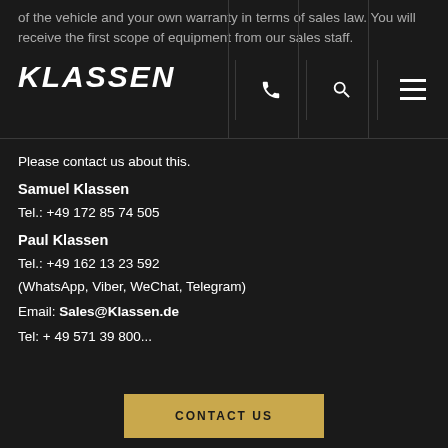of the vehicle and your own warranty in terms of sales law. You will receive the first scope of equipment from our sales staff.
[Figure (logo): KLASSEN logo in bold white italic text]
Please contact us about this.
Samuel Klassen
Tel.: +49 172 85 74 505
Paul Klassen
Tel.: +49 162 13 23 592
(WhatsApp, Viber, WeChat, Telegram)
Email: Sales@Klassen.de
Tel: + 49 571 39 800...